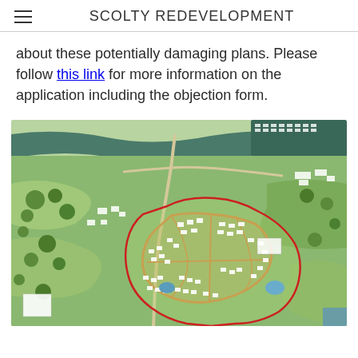SCOLTY REDEVELOPMENT
about these potentially damaging plans. Please follow this link for more information on the application including the objection form.
[Figure (map): Aerial/satellite map showing the Scolty redevelopment site with a red boundary outline marking the development area, overlaid on a green landscape with roads, fields, and a river visible in the background.]